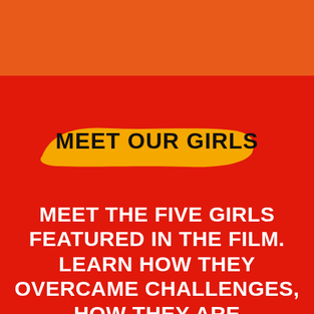MEET OUR GIRLS
MEET THE FIVE GIRLS FEATURED IN THE FILM. LEARN HOW THEY OVERCAME CHALLENGES, HOW THEY ARE